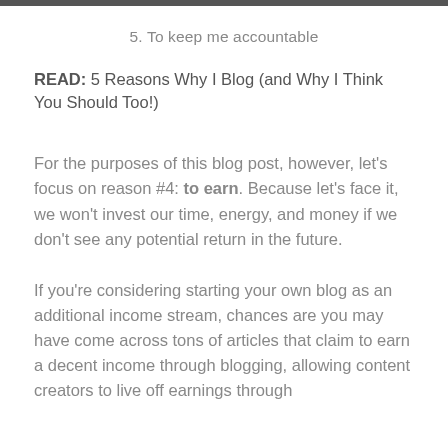5. To keep me accountable
READ: 5 Reasons Why I Blog (and Why I Think You Should Too!)
For the purposes of this blog post, however, let's focus on reason #4: to earn.  Because let's face it, we won't invest our time, energy, and money if we don't see any potential return in the future.
If you're considering starting your own blog as an additional income stream, chances are you may have come across tons of articles that claim to earn a decent income through blogging, allowing content creators to live off earnings through